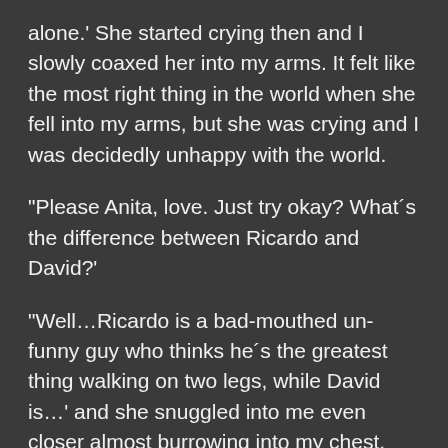alone.' She started crying then and I slowly coaxed her into my arms. It felt like the most right thing in the world when she fell into my arms, but she was crying and I was decidedly unhappy with the world.
“Please Anita, love. Just try okay? What´s the difference between Ricardo and David?’
“Well…Ricardo is a bad-mouthed un-funny guy who thinks he´s the greatest thing walking on two legs, while David is…’ and she snuggled into me even closer almost burrowing into my chest, “human.’
I sighed.